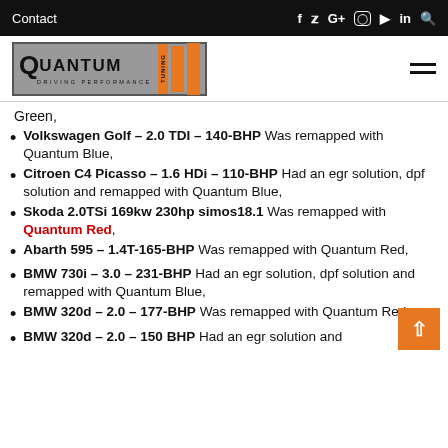Contact  f  y  G+  Instagram  YouTube  in  Search
[Figure (logo): Quantum Tuning logo with orange bars]
Green,
Volkswagen Golf – 2.0 TDI – 140-BHP Was remapped with Quantum Blue,
Citroen C4 Picasso – 1.6 HDi – 110-BHP Had an egr solution, dpf solution and remapped with Quantum Blue,
Skoda 2.0TSi 169kw 230hp simos18.1 Was remapped with Quantum Red,
Abarth 595 – 1.4T-165-BHP Was remapped with Quantum Red,
BMW 730i – 3.0 – 231-BHP Had an egr solution, dpf solution and remapped with Quantum Blue,
BMW 320d – 2.0 – 177-BHP Was remapped with Quantum Red,
BMW 320d – 2.0 – 150 BHP Had an egr solution and